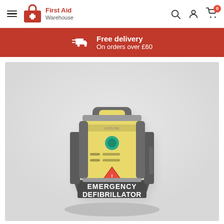First Aid Warehouse — navigation bar with hamburger menu, logo, search, account, and cart icons
Free delivery On orders over £60
[Figure (photo): Yellow and grey portable emergency defibrillator (AED) with handle, sitting in a grey stand/holder labelled EMERGENCY DEFIBRILLATOR in white text, photographed against a light grey/white background.]